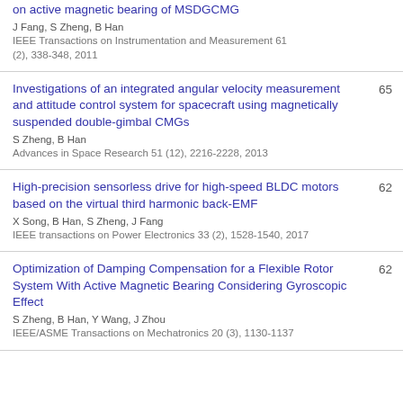on active magnetic bearing of MSDGCMG — J Fang, S Zheng, B Han — IEEE Transactions on Instrumentation and Measurement 61 (2), 338-348, 2011
Investigations of an integrated angular velocity measurement and attitude control system for spacecraft using magnetically suspended double-gimbal CMGs — S Zheng, B Han — Advances in Space Research 51 (12), 2216-2228, 2013 — 65
High-precision sensorless drive for high-speed BLDC motors based on the virtual third harmonic back-EMF — X Song, B Han, S Zheng, J Fang — IEEE transactions on Power Electronics 33 (2), 1528-1540, 2017 — 62
Optimization of Damping Compensation for a Flexible Rotor System With Active Magnetic Bearing Considering Gyroscopic Effect — S Zheng, B Han, Y Wang, J Zhou — IEEE/ASME Transactions on Mechatronics 20 (3), 1130-1137 — 62